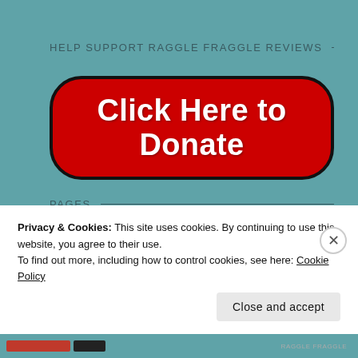HELP SUPPORT RAGGLE FRAGGLE REVIEWS
[Figure (other): Large red rounded-rectangle button with bold white text reading 'Click Here to Donate', outlined with a thick black border]
PAGES
3DS Reviews
About
Privacy & Cookies: This site uses cookies. By continuing to use this website, you agree to their use.
To find out more, including how to control cookies, see here: Cookie Policy
Close and accept